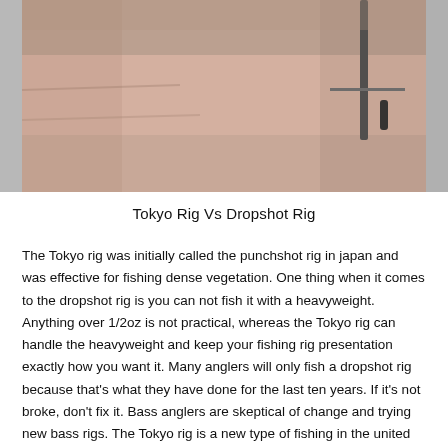[Figure (photo): Close-up photograph of a hand holding a fishing rig (Tokyo Rig or Dropshot Rig), showing fingers gripping a small hook and wire component against a blurred background.]
Tokyo Rig Vs Dropshot Rig
The Tokyo rig was initially called the punchshot rig in japan and was effective for fishing dense vegetation. One thing when it comes to the dropshot rig is you can not fish it with a heavyweight. Anything over 1/2oz is not practical, whereas the Tokyo rig can handle the heavyweight and keep your fishing rig presentation exactly how you want it. Many anglers will only fish a dropshot rig because that's what they have done for the last ten years. If it's not broke, don't fix it. Bass anglers are skeptical of change and trying new bass rigs. The Tokyo rig is a new type of fishing in the united states and has only gained traction in the last two years. It is a fishing style that every fisherman needs in their tackle box and should be used when the conditions are right. Try each of the rigs and see for yourself what is a better rig for the type of